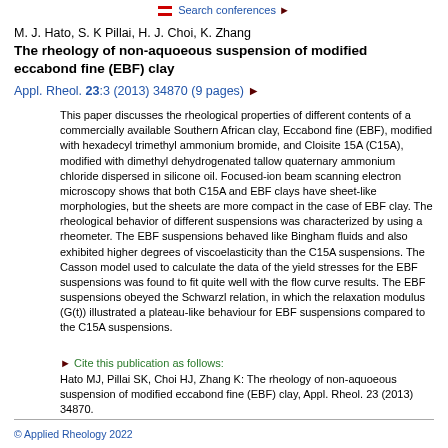Search conferences ►
M. J. Hato, S. K Pillai, H. J. Choi, K. Zhang
The rheology of non-aquoeous suspension of modified eccabond fine (EBF) clay
Appl. Rheol. 23:3 (2013) 34870 (9 pages) ►
This paper discusses the rheological properties of different contents of a commercially available Southern African clay, Eccabond fine (EBF), modified with hexadecyl trimethyl ammonium bromide, and Cloisite 15A (C15A), modified with dimethyl dehydrogenated tallow quaternary ammonium chloride dispersed in silicone oil. Focused-ion beam scanning electron microscopy shows that both C15A and EBF clays have sheet-like morphologies, but the sheets are more compact in the case of EBF clay. The rheological behavior of different suspensions was characterized by using a rheometer. The EBF suspensions behaved like Bingham fluids and also exhibited higher degrees of viscoelasticity than the C15A suspensions. The Casson model used to calculate the data of the yield stresses for the EBF suspensions was found to fit quite well with the flow curve results. The EBF suspensions obeyed the Schwarzl relation, in which the relaxation modulus (G(t)) illustrated a plateau-like behaviour for EBF suspensions compared to the C15A suspensions.
► Cite this publication as follows: Hato MJ, Pillai SK, Choi HJ, Zhang K: The rheology of non-aquoeous suspension of modified eccabond fine (EBF) clay, Appl. Rheol. 23 (2013) 34870.
© Applied Rheology 2022